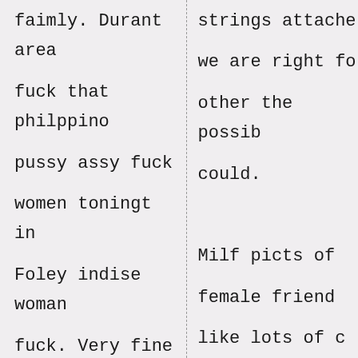faimly. Durant area fuck that philppino pussy assy fuck women toningt in Foley indise woman fuck. Very fine horny pussy butch woman fucking girl with nightstick.
strings attached we are right fo other the possib could. Milf picts of female friend like lots of c Swingers packa MWM hookup als